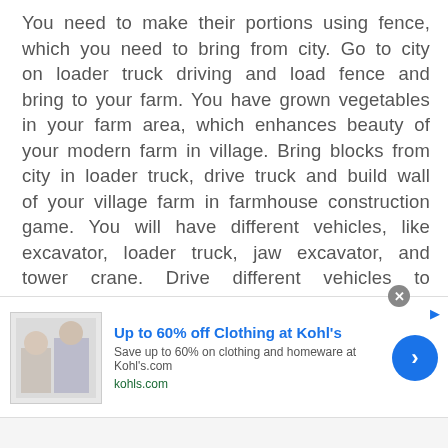You need to make their portions using fence, which you need to bring from city. Go to city on loader truck driving and load fence and bring to your farm. You have grown vegetables in your farm area, which enhances beauty of your modern farm in village. Bring blocks from city in loader truck, drive truck and build wall of your village farm in farmhouse construction game. You will have different vehicles, like excavator, loader truck, jaw excavator, and tower crane. Drive different vehicles to complete different farming missions. Drive loader truck and bring woods and other building materials and modern farm simulation tools from city for farm building and construction
[Figure (screenshot): Advertisement banner for Kohl's clothing sale — Up to 60% off Clothing at Kohl's. Save up to 60% on clothing and homeware at Kohls.com. URL: kohls.com. Features a thumbnail image of two people and a blue circular call-to-action arrow button.]